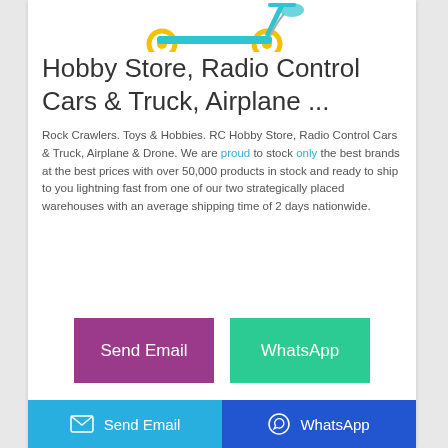[Figure (photo): Product image of a kick scooter with yellow wheels and teal/blue body, partially visible at top of card]
Hobby Store, Radio Control Cars & Truck, Airplane ...
Rock Crawlers. Toys & Hobbies. RC Hobby Store, Radio Control Cars & Truck, Airplane & Drone. We are proud to stock only the best brands at the best prices with over 50,000 products in stock and ready to ship to you lightning fast from one of our two strategically placed warehouses with an average shipping time of 2 days nationwide.
[Figure (other): Send Email button (purple/magenta) and WhatsApp button (green teal) side by side]
Send Email   WhatsApp